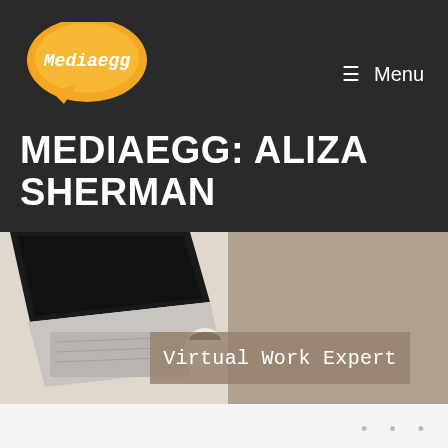[Figure (logo): Mediaegg logo: orange speech bubble with yellow oval and white italic text 'Mediaegg']
≡  Menu
MEDIAEGG: ALIZA SHERMAN
[Figure (photo): Left half: smiling woman with long gray hair and red glasses wearing a striped top. Right half: laptop computer on wooden desk with coffee cup. Overlaid tan/brown banner reading 'Virtual Work Expert']
Virtual Work Expert
•••